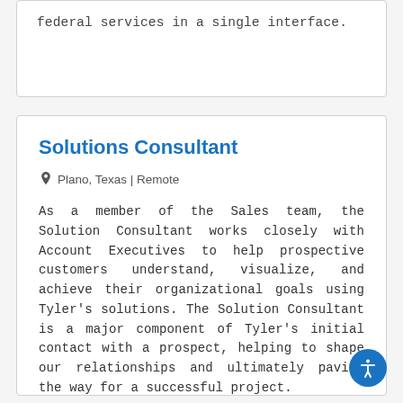federal services in a single interface.
Solutions Consultant
Plano, Texas | Remote
As a member of the Sales team, the Solution Consultant works closely with Account Executives to help prospective customers understand, visualize, and achieve their organizational goals using Tyler's solutions. The Solution Consultant is a major component of Tyler's initial contact with a prospect, helping to shape our relationships and ultimately paving the way for a successful project.